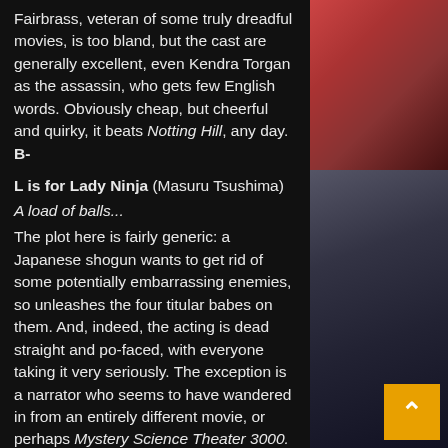Fairbrass, veteran of some truly dreadful movies, is too bland, but the cast are generally excellent, even Kendra Torgan as the assassin, who gets few English words. Obviously cheap, but cheerful and quirky, it beats Notting Hill, any day. B-
L is for Lady Ninja (Masuru Tsushima)
A load of balls...
The plot here is fairly generic: a Japanese shogun wants to get rid of some potentially embarrassing enemies, so unleashes the four titular babes on them. And, indeed, the acting is dead straight and po-faced, with everyone taking it very seriously. The exception is a narrator who seems to have wandered in from an entirely different movie, or perhaps Mystery Science Theater 3000. However, it's almost as if someone also let said na... loose on the script for twenty minutes, because oc... sequences are well beyond odd, and can only be